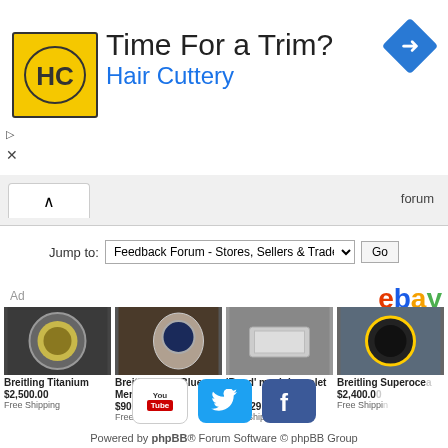[Figure (infographic): Hair Cuttery advertisement banner with HC logo, 'Time For a Trim?' headline, and Hair Cuttery subtitle with navigation arrow icon]
forum
Jump to:  Feedback Forum - Stores, Sellers & Traders  Go
[Figure (infographic): eBay advertisement section with 4 watch products: Breitling Titanium $2,500.00 Free Shipping, Breitling Colt Blue Men's $900.00 Free Shipping, 'Bond' mesh bracelet for GBP 29.00 Free Shipping, Breitling Superoce $2,400.00 Free Shippi]
[Figure (infographic): Social media icons: YouTube, Twitter, Facebook]
Powered by phpBB® Forum Software © phpBB Group